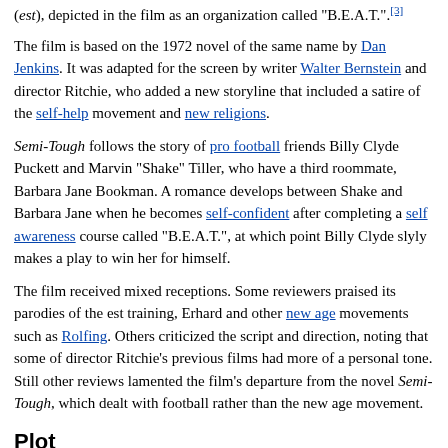(est), depicted in the film as an organization called "B.E.A.T.".[3]
The film is based on the 1972 novel of the same name by Dan Jenkins. It was adapted for the screen by writer Walter Bernstein and director Ritchie, who added a new storyline that included a satire of the self-help movement and new religions.
Semi-Tough follows the story of pro football friends Billy Clyde Puckett and Marvin "Shake" Tiller, who have a third roommate, Barbara Jane Bookman. A romance develops between Shake and Barbara Jane when he becomes self-confident after completing a self awareness course called "B.E.A.T.", at which point Billy Clyde slyly makes a play to win her for himself.
The film received mixed receptions. Some reviewers praised its parodies of the est training, Erhard and other new age movements such as Rolfing. Others criticized the script and direction, noting that some of director Ritchie's previous films had more of a personal tone. Still other reviews lamented the film's departure from the novel Semi-Tough, which dealt with football rather than the new age movement.
Plot
Wide receiver Marvin "Shake" Tiller and running back Billy Clyde